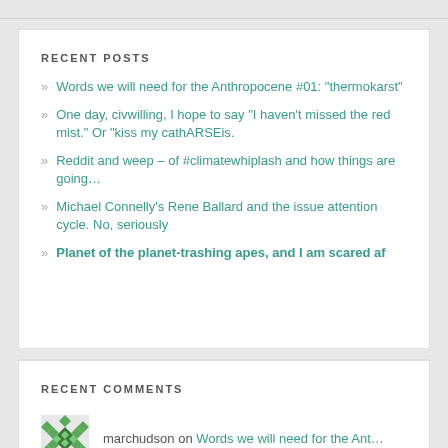RECENT POSTS
Words we will need for the Anthropocene #01: "thermokarst"
One day, civwilling, I hope to say "I haven’t missed the red mist." Or "kiss my cathARSEis.
Reddit and weep – of #climatewhiplash and how things are going…
Michael Connelly’s Rene Ballard and the issue attention cycle. No, seriously
Planet of the planet-trashing apes, and I am scared af
RECENT COMMENTS
marchudson on Words we will need for the Ant…